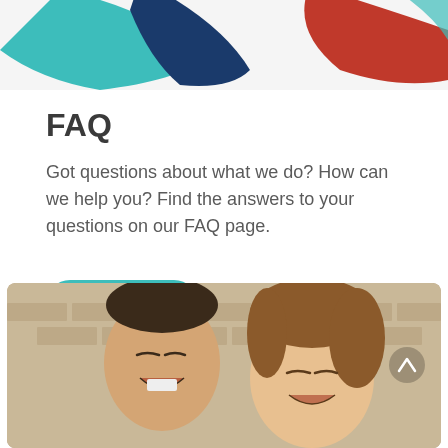[Figure (illustration): Partial logo or graphic with teal, dark blue, and red swoosh/chevron shapes on a light gray background, cropped at the top of the page.]
FAQ
Got questions about what we do? How can we help you? Find the answers to your questions on our FAQ page.
Read more
[Figure (photo): Photo of two people laughing together outdoors in front of a brick wall. On the left is a man with Down syndrome smiling broadly; on the right is a woman with medium-length brown hair also laughing.]